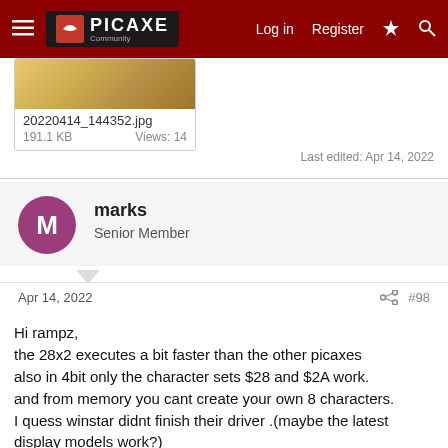PICAXE Community — Log in  Register
[Figure (screenshot): Thumbnail of attached image file 20220414_144352.jpg, 191.1 KB, Views: 14]
Last edited: Apr 14, 2022
marks
Senior Member
Apr 14, 2022  #98
Hi rampz,
the 28x2 executes a bit faster than the other picaxes
also in 4bit only the character sets $28 and $2A work.
and from memory you cant create your own 8 characters.
I quess winstar didnt finish their driver .(maybe the latest display models work?)
however all these will work using 8bit interface so maybe use the full port
you should be able to get the following to work on your 28x2